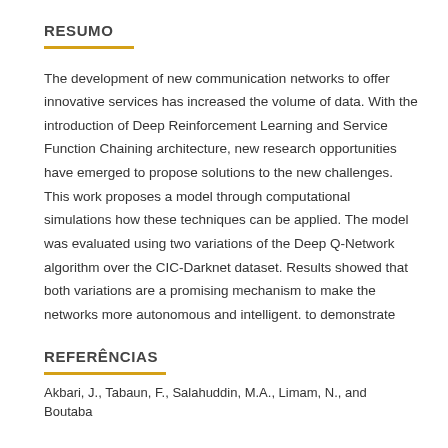RESUMO
The development of new communication networks to offer innovative services has increased the volume of data. With the introduction of Deep Reinforcement Learning and Service Function Chaining architecture, new research opportunities have emerged to propose solutions to the new challenges. This work proposes a model through computational simulations how these techniques can be applied. The model was evaluated using two variations of the Deep Q-Network algorithm over the CIC-Darknet dataset. Results showed that both variations are a promising mechanism to make the networks more autonomous and intelligent. to demonstrate
REFERÊNCIAS
Akbari, J., Tabaun, F., Salahuddin, M.A., Limam, N., and Boutaba